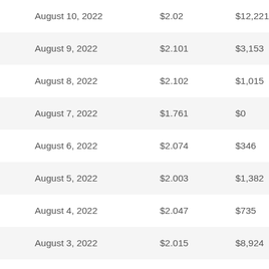| August 10, 2022 | $2.02 | $12,221 |
| August 9, 2022 | $2.101 | $3,153 |
| August 8, 2022 | $2.102 | $1,015 |
| August 7, 2022 | $1.761 | $0 |
| August 6, 2022 | $2.074 | $346 |
| August 5, 2022 | $2.003 | $1,382 |
| August 4, 2022 | $2.047 | $735 |
| August 3, 2022 | $2.015 | $8,924 |